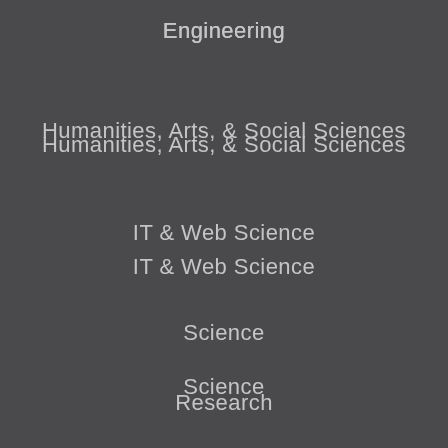Engineering
Humanities, Arts, & Social Sciences
IT & Web Science
Science
Research
RPI CONNECTIONS
Admissions